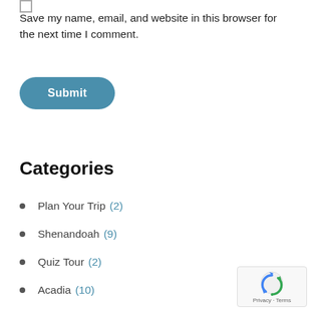Save my name, email, and website in this browser for the next time I comment.
Submit
Categories
Plan Your Trip (2)
Shenandoah (9)
Quiz Tour (2)
Acadia (10)
Arches (12)